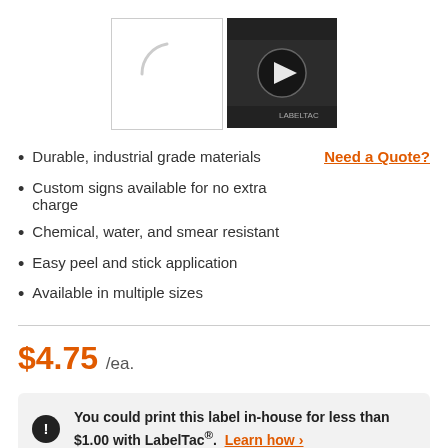[Figure (photo): Two thumbnail images side by side: a loading placeholder on left, a video thumbnail with play button on right]
Durable, industrial grade materials
Custom signs available for no extra charge
Chemical, water, and smear resistant
Easy peel and stick application
Available in multiple sizes
Need a Quote?
$4.75 /ea.
You could print this label in-house for less than $1.00 with LabelTac®. Learn how ›